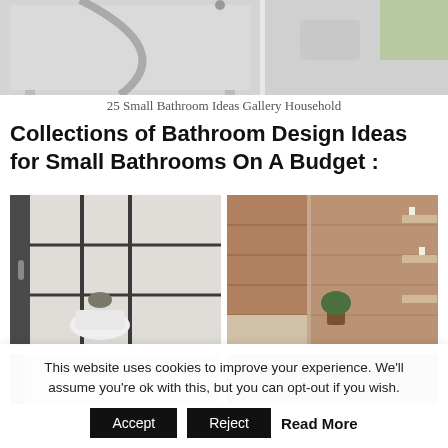[Figure (photo): Top portion of a small bathroom with curved shower enclosure and sink with green plant]
25 Small Bathroom Ideas Gallery Household
Collections of Bathroom Design Ideas for Small Bathrooms On A Budget :
[Figure (photo): Small bathroom with black-framed glass shower enclosure and white subway tiles]
[Figure (photo): Bathroom with wood-paneled glass shower door and green plant]
[Figure (photo): Partial view of another bathroom - bottom row left]
[Figure (photo): Partial view of another bathroom - bottom row right]
This website uses cookies to improve your experience. We'll assume you're ok with this, but you can opt-out if you wish.